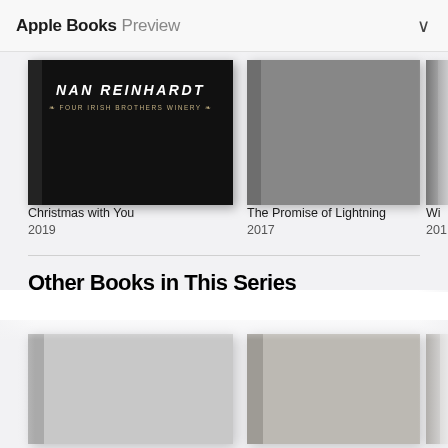Apple Books Preview
[Figure (photo): Book covers row: 'Christmas with You' (dark cover with 'NAN REINHARDT' text and 'FOUR IRISH BROTHERS WINERY' subtitle), 'The Promise of Lightning' (grey cover), and a partially visible third book, all displayed on a light grey background]
Christmas with You
2019
The Promise of Lightning
2017
Wi...
201...
Other Books in This Series
[Figure (photo): Three partially visible book covers with grey/neutral tones displayed in a horizontal scrollable row, the books showing spines on the left side]